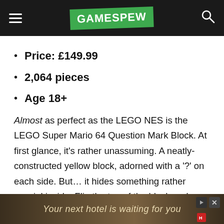GAMESPEW
Price: £149.99
2,064 pieces
Age 18+
Almost as perfect as the LEGO NES is the LEGO Super Mario 64 Question Mark Block. At first glance, it's rather unassuming. A neatly-constructed yellow block, adorned with a '?' on each side. But… it hides something rather special inside. Flip the top of the block and a diorama of worlds from Super Mario 64 will pop out. There's Princess Peach's castle, Bob-omb B… Lava Troub… n
[Figure (other): Advertisement banner: 'Your next hotel is waiting for you' with background image of a illuminated castle/hotel at night]